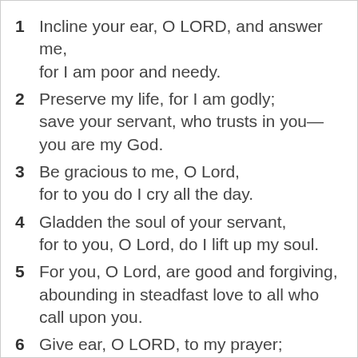1 Incline your ear, O LORD, and answer me, for I am poor and needy.
2 Preserve my life, for I am godly; save your servant, who trusts in you—you are my God.
3 Be gracious to me, O Lord, for to you do I cry all the day.
4 Gladden the soul of your servant, for to you, O Lord, do I lift up my soul.
5 For you, O Lord, are good and forgiving, abounding in steadfast love to all who call upon you.
6 Give ear, O LORD, to my prayer; listen to my plea for grace.
7 In the day of my trouble I call upon you,